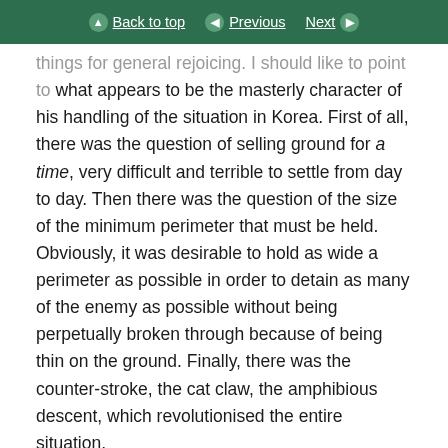Back to top | Previous | Next
things for general rejoicing. I should like to point to what appears to be the masterly character of his handling of the situation in Korea. First of all, there was the question of selling ground for a time, very difficult and terrible to settle from day to day. Then there was the question of the size of the minimum perimeter that must be held. Obviously, it was desirable to hold as wide a perimeter as possible in order to detain as many of the enemy as possible without being perpetually broken through because of being thin on the ground. Finally, there was the counter-stroke, the cat claw, the amphibious descent, which revolutionised the entire situation.
I hope we shall find that the Americans in getting ashore opposite Seoul, were not so hampered by over-repetition of advice on the conditions...